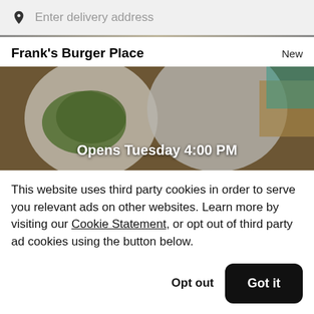Enter delivery address
Frank's Burger Place    New
[Figure (photo): Overhead photo of food dishes on a wooden table. Shows white plates with green vegetables and other food items. Text overlay reads 'Opens Tuesday 4:00 PM'.]
This website uses third party cookies in order to serve you relevant ads on other websites. Learn more by visiting our Cookie Statement, or opt out of third party ad cookies using the button below.
Opt out   Got it